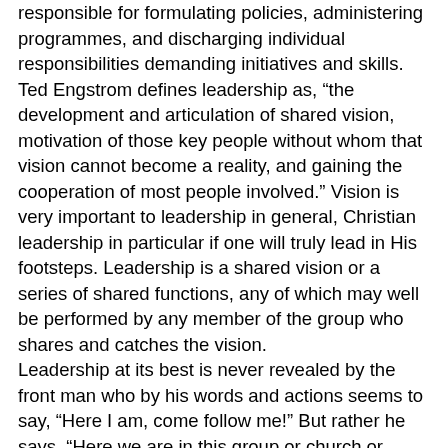responsible for formulating policies, administering programmes, and discharging individual responsibilities demanding initiatives and skills. Ted Engstrom defines leadership as, “the development and articulation of shared vision, motivation of those key people without whom that vision cannot become a reality, and gaining the cooperation of most people involved.” Vision is very important to leadership in general, Christian leadership in particular if one will truly lead in His footsteps. Leadership is a shared vision or a series of shared functions, any of which may well be performed by any member of the group who shares and catches the vision. Leadership at its best is never revealed by the front man who by his words and actions seems to say, “Here I am, come follow me!” But rather he says, “Here we are in this group or church or institution or organization or management, what is it to be done that we want to do together? How best can we do it together to achieve our mission and vision?” Christian leadership: Leadership in a local church, organization or institution is the noble art of cooperatively planning and unitedly achieving the goals God Has for humankind in the life, teachings, suffering, death, resurrection, and the Coming